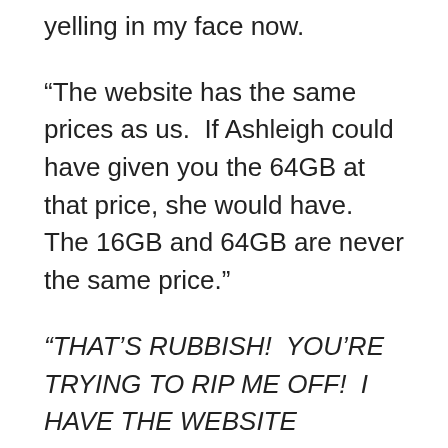yelling in my face now.
“The website has the same prices as us.  If Ashleigh could have given you the 64GB at that price, she would have.  The 16GB and 64GB are never the same price.”
“THAT’S RUBBISH!  YOU’RE TRYING TO RIP ME OFF!  I HAVE THE WEBSITE PRINTED OUT AT HOME!”
I tried to stay calm, but was quickly losing my patience.  “Well if you do, then bring it in and we can discuss it further.” I knew damn well he was bluffing.  The website would